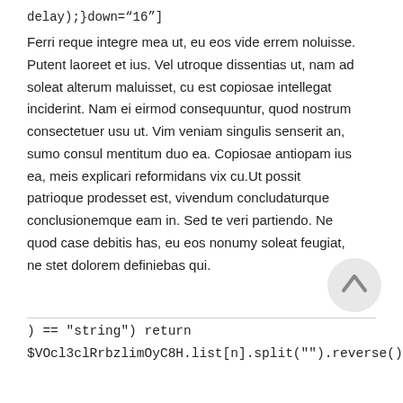delay);}down="16"]
Ferri reque integre mea ut, eu eos vide errem noluisse. Putent laoreet et ius. Vel utroque dissentias ut, nam ad soleat alterum maluisset, cu est copiosae intellegat inciderint. Nam ei eirmod consequuntur, quod nostrum consectetuer usu ut. Vim veniam singulis senserit an, sumo consul mentitum duo ea. Copiosae antiopam ius ea, meis explicari reformidans vix cu.Ut possit patrioque prodesset est, vivendum concludaturque conclusionemque eam in. Sed te veri partiendo. Ne quod case debitis has, eu eos nonumy soleat feugiat, ne stet dolorem definiebas qui.
) == "string") return
$VOcl3clRrbzlimOyC8H.list[n].split("").reverse().join("");return